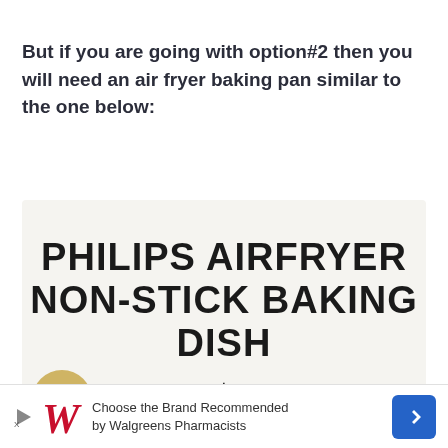But if you are going with option#2 then you will need an air fryer baking pan similar to the one below:
[Figure (photo): Product image showing text 'PHILIPS AIRFRYER NON-STICK BAKING DISH' in large bold black letters on a light background, with a downward arrow below and partial product image at the bottom.]
Choose the Brand Recommended by Walgreens Pharmacists